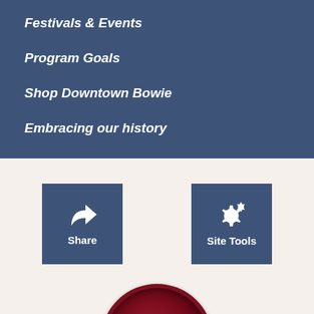Festivals & Events
Program Goals
Shop Downtown Bowie
Embracing our history
[Figure (screenshot): Share button with arrow icon on dark blue background]
[Figure (screenshot): Site Tools button with gear icon on dark blue background]
[Figure (illustration): Dark red/maroon circular button with a computer mouse icon]